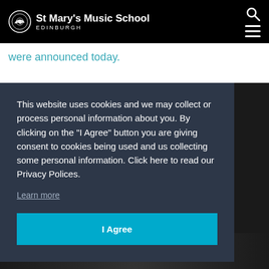St Mary's Music School EDINBURGH
were announced today.
This website uses cookies and we may collect or process personal information about you. By clicking on the “I Agree” button you are giving consent to cookies being used and us collecting some personal information. Click here to read our Privacy Polices.
Learn more
I Agree